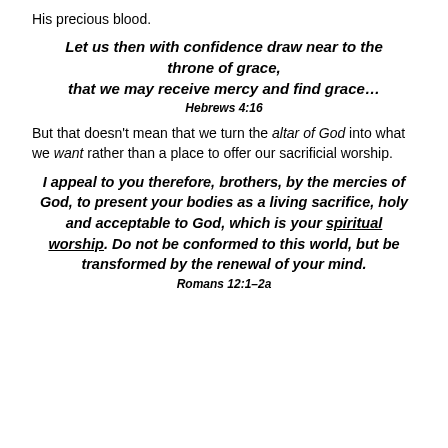His precious blood.
Let us then with confidence draw near to the throne of grace, that we may receive mercy and find grace…
Hebrews 4:16
But that doesn't mean that we turn the altar of God into what we want rather than a place to offer our sacrificial worship.
I appeal to you therefore, brothers, by the mercies of God, to present your bodies as a living sacrifice, holy and acceptable to God, which is your spiritual worship. Do not be conformed to this world, but be transformed by the renewal of your mind.
Romans 12:1–2a